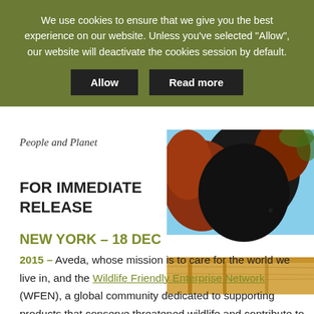We use cookies to ensure that we give you the best experience on our website. Unless you've selected "Allow", our website will deactivate the cookies session by default.
Allow    Read more
People and Planet
[Figure (photo): Close-up photo of a red-and-black animal (likely a red ruffed lemur) on a bamboo structure with blue sky background]
FOR IMMEDIATE RELEASE
NEW YORK – 18 DEC 2015 – Aveda, whose mission is to care for the world we live in, and the Wildlife Friendly Enterprise Network (WFEN), a global community dedicated to supporting products that conserve threatened wildlife and contribute to economic vitality in rural landscapes, are pleased to announce an exciting new partnership